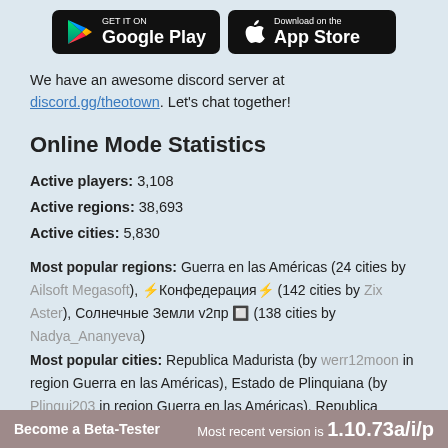[Figure (other): Google Play and App Store download buttons]
We have an awesome discord server at discord.gg/theotown. Let's chat together!
Online Mode Statistics
Active players: 3,108
Active regions: 38,693
Active cities: 5,830
Most popular regions: Guerra en las Américas (24 cities by Ailsoft Megasoft), ⚡Конфедерация⚡ (142 cities by Zix Aster), Солнечные Земли v2пр 🔲 (138 cities by Nadya_Ananyeva)
Most popular cities: Republica Madurista (by werr12moon in region Guerra en las Américas), Estado de Plinquiana (by Plinqui203 in region Guerra en las Américas), Republica Incaica (by whatnopeking in region Guerra en las Américas)
Become a Beta-Tester   Most recent version is 1.10.73a/i/p